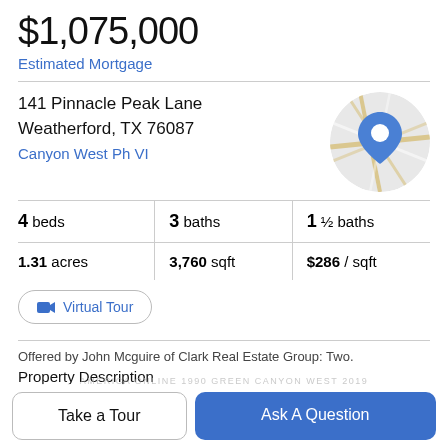$1,075,000
Estimated Mortgage
141 Pinnacle Peak Lane
Weatherford, TX 76087
Canyon West Ph VI
[Figure (map): Circular map thumbnail with street layout and blue location pin marker]
4 beds   3 baths   1 ½ baths
1.31 acres   3,760 sqft   $286 / sqft
Virtual Tour
Offered by John Mcguire of Clark Real Estate Group: Two.
Property Description
Take a Tour
Ask A Question